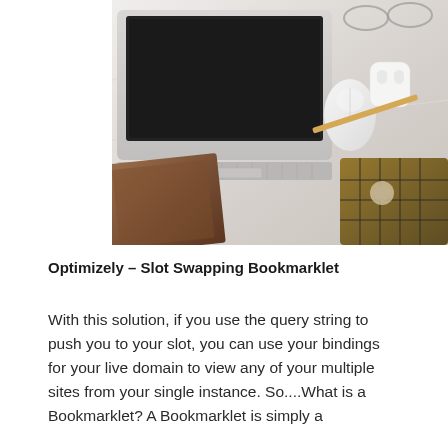[Figure (photo): Overhead view of a marble desk with a MacBook laptop, wireless mouse, AirPods case, pencil, brown leather notebook, wire storage basket, and glasses in the background.]
Optimizely – Slot Swapping Bookmarklet
With this solution, if you use the query string to push you to your slot, you can use your bindings for your live domain to view any of your multiple sites from your single instance. So....What is a Bookmarklet? A Bookmarklet is simply a